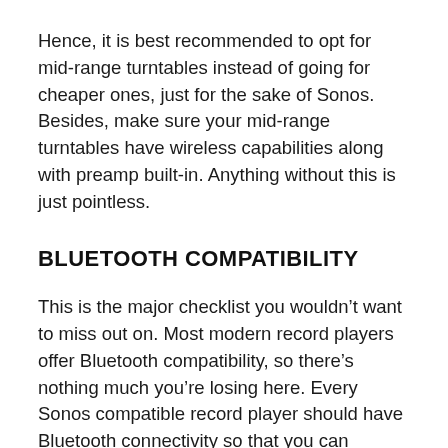Hence, it is best recommended to opt for mid-range turntables instead of going for cheaper ones, just for the sake of Sonos. Besides, make sure your mid-range turntables have wireless capabilities along with preamp built-in. Anything without this is just pointless.
BLUETOOTH COMPATIBILITY
This is the major checklist you wouldn't want to miss out on. Most modern record players offer Bluetooth compatibility, so there's nothing much you're losing here. Every Sonos compatible record player should have Bluetooth connectivity so that you can